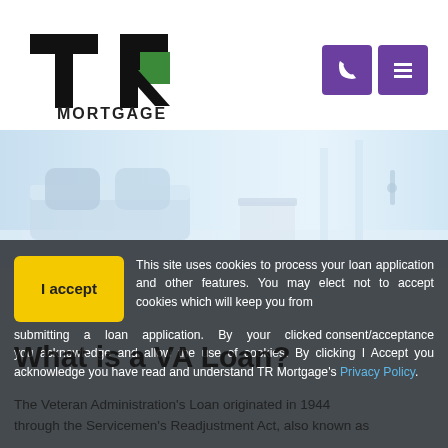[Figure (logo): TR Mortgage logo — black T and R letters with a green triangle accent, MORTGAGE text below]
[Figure (screenshot): Two purple square buttons: a phone icon button and a hamburger menu icon button]
[Figure (photo): Light blue-toned interior room photo showing a white sofa/bed with pillows, a small table, and a glass partition — blurred/soft focus]
I accept  This site uses cookies to process your loan application and other features. You may elect not to accept cookies which will keep you from submitting a loan application. By your clicked consent/acceptance you acknowledge and allow the use of cookies. By clicking I Accept you acknowledge you have read and understand TR Mortgage's Privacy Policy.
What is a VA Loan?
The Veteran Administration's Loan originated in 1944 through the Servicemen's Readjustment Act, also known as